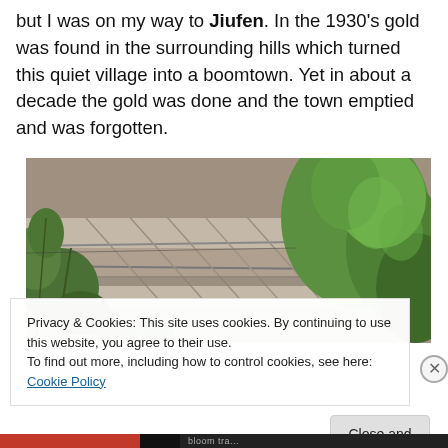but I was on my way to Juifen. In the 1930's gold was found in the surrounding hills which turned this quiet village into a boomtown. Yet in about a decade the gold was done and the town emptied and was forgotten.
[Figure (photo): A photograph of overgrown stone ruins covered by tropical vegetation, including large green leaves in the foreground and background with stone walls visible behind.]
Privacy & Cookies: This site uses cookies. By continuing to use this website, you agree to their use.
To find out more, including how to control cookies, see here: Cookie Policy
bloom tra...